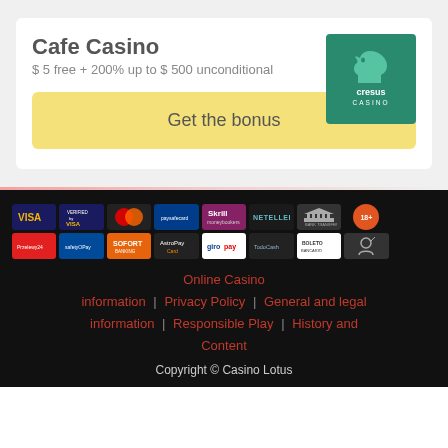Cafe Casino
$ 5 free + 200% up to $ 500 unconditional
[Figure (logo): Cresus Casino logo - green square with horse chess piece and text 'cresus CASINO']
Get the bonus
[Figure (infographic): Payment method logos row 1: VISA, Verified by VISA, Mastercard, paysafecard, Skrill moneybookers, NETELLER, Bank Transfer, 18+]
[Figure (infographic): Payment method logos row 2: Przelewy24, Safety Pay, SOFORT Banking, AstroPay, giropay, TodoCash, Boleto Bancario, responsible gaming icon]
Online Casino information | Privacy Policy | General and legal information | Responsible Play | History and Content
Copyright © Casino Lotus